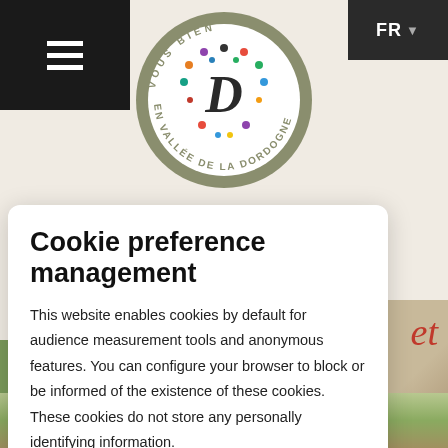[Figure (screenshot): Website navigation bar with hamburger menu on left (black background) and FR language selector on top right]
[Figure (logo): Circular logo with text 'VOUS BIEN EN VALLEE DE LA DORDOGNE' around edge and stylized D with colorful dots in center]
Cookie preference management
This website enables cookies by default for audience measurement tools and anonymous features. You can configure your browser to block or be informed of the existence of these cookies. These cookies do not store any personally identifying information.
Read more
No thanks
I choose
Ok for me